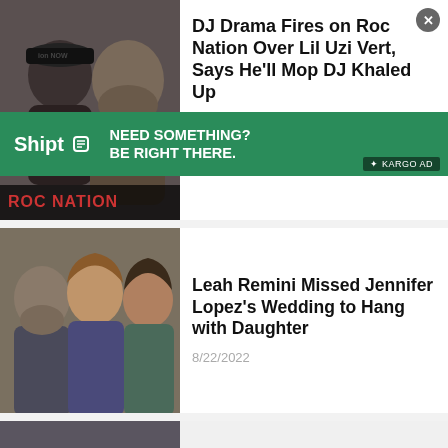[Figure (photo): Two men, one wearing a black cap with 'Generation Now' text, and a larger man with beard, in front of Roc Nation backdrop]
DJ Drama Fires on Roc Nation Over Lil Uzi Vert, Says He'll Mop DJ Khaled Up
[Figure (infographic): Shipt advertisement banner: green background with 'Shipt' logo and tagline 'NEED SOMETHING? BE RIGHT THERE.' with Kargo Ad badge]
[Figure (photo): Ben Affleck, Jennifer Lopez, and Leah Remini smiling together outdoors]
Leah Remini Missed Jennifer Lopez's Wedding to Hang with Daughter
8/22/2022
[Figure (photo): Two people, one wearing a dark beanie hat and one blonde woman looking upward]
Girlfriend Of Late Oregon Ducks Star Spencer Webb